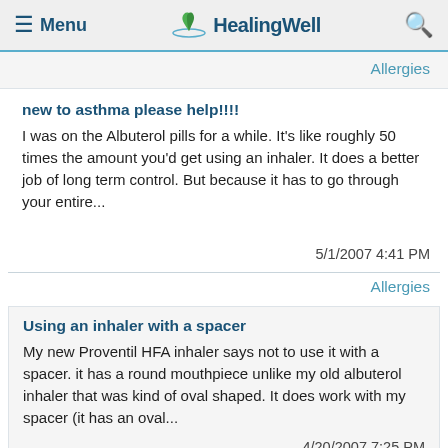≡ Menu  HealingWell  🔍
Allergies
new to asthma please help!!!!
I was on the Albuterol pills for a while. It's like roughly 50 times the amount you'd get using an inhaler. It does a better job of long term control. But because it has to go through your entire...
5/1/2007 4:41 PM
Allergies
Using an inhaler with a spacer
My new Proventil HFA inhaler says not to use it with a spacer. it has a round mouthpiece unlike my old albuterol inhaler that was kind of oval shaped. It does work with my spacer (it has an oval...
4/20/2007 7:25 PM